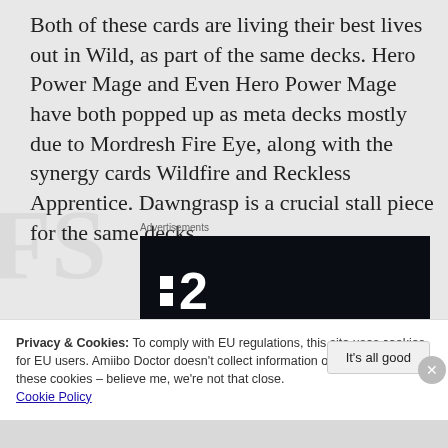Both of these cards are living their best lives out in Wild, as part of the same decks. Hero Power Mage and Even Hero Power Mage have both popped up as meta decks mostly due to Mordresh Fire Eye, along with the synergy cards Wildfire and Reckless Apprentice. Dawngrasp is a crucial stall piece for the same decks.
Advertisements
[Figure (logo): Dark advertisement banner with white Paramount+ P2 logo on black background]
Privacy & Cookies: To comply with EU regulations, this site uses cookies for EU users. Amiibo Doctor doesn't collect information on you outside of these cookies – believe me, we're not that close. Cookie Policy
It's all good